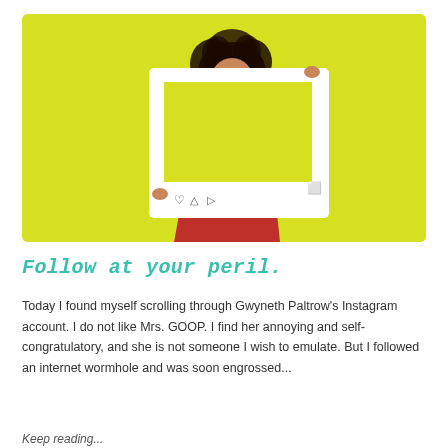[Figure (photo): A woman with curly hair and white sunglasses, wearing a red floral dress, smiling and holding a white Instagram-style photo frame in front of her. Background is bright yellow-green.]
Follow at your peril.
Today I found myself scrolling through Gwyneth Paltrow's Instagram account. I do not like Mrs. GOOP. I find her annoying and self-congratulatory, and she is not someone I wish to emulate. But I followed an internet wormhole and was soon engrossed...
Keep reading...